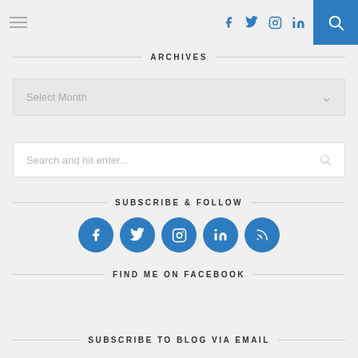Navigation bar with hamburger menu, social icons (f, twitter, instagram, in), and search button
ARCHIVES
[Figure (screenshot): Dropdown selector showing 'Select Month' with chevron arrow]
[Figure (screenshot): Search input box with placeholder 'Search and hit enter...' and search icon]
SUBSCRIBE & FOLLOW
[Figure (infographic): Row of 5 blue circular social media icons: Facebook, Twitter, Instagram, LinkedIn, RSS]
FIND ME ON FACEBOOK
SUBSCRIBE TO BLOG VIA EMAIL